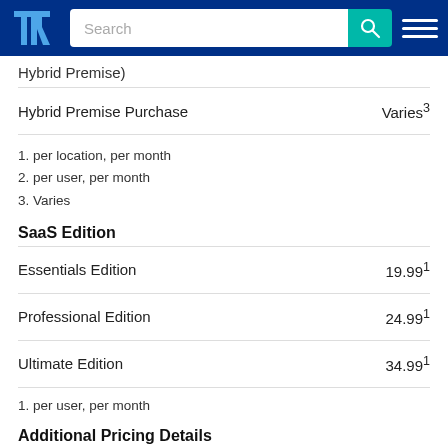TrustRadius — Search
Hybrid Premise)
| Edition | Price |
| --- | --- |
| Hybrid Premise Purchase | Varies³ |
1. per location, per month
2. per user, per month
3. Varies
SaaS Edition
| Edition | Price |
| --- | --- |
| Essentials Edition | 19.99¹ |
| Professional Edition | 24.99¹ |
| Ultimate Edition | 34.99¹ |
1. per user, per month
Additional Pricing Details